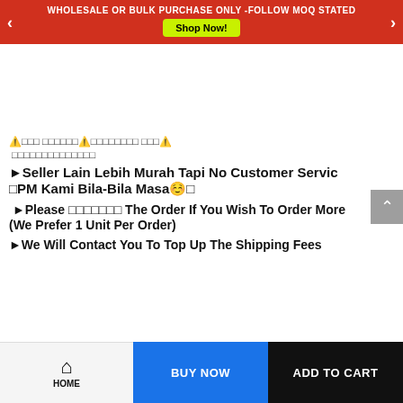WHOLESALE OR BULK PURCHASE ONLY -FOLLOW MOQ STATED
Shop Now!
⚠️□□□ □□□□□□⚠️□□□□□□□□ □□□⚠️
□□□□□□□□□□□□□□
►Seller Lain Lebih Murah Tapi No Customer Service
💭PM Kami Bila-Bila Masa☺💭
►Please □□□□□□□ The Order If You Wish To Order More
(We Prefer 1 Unit Per Order)
►We Will Contact You To Top Up The Shipping Fees
HOME | BUY NOW | ADD TO CART